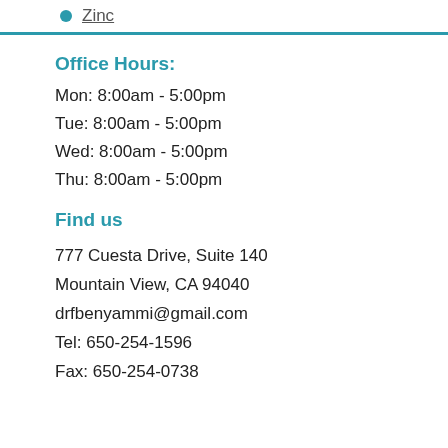Zinc
Office Hours:
Mon: 8:00am - 5:00pm
Tue: 8:00am - 5:00pm
Wed: 8:00am - 5:00pm
Thu: 8:00am - 5:00pm
Find us
777 Cuesta Drive, Suite 140
Mountain View, CA 94040
drfbenyammi@gmail.com
Tel: 650-254-1596
Fax: 650-254-0738